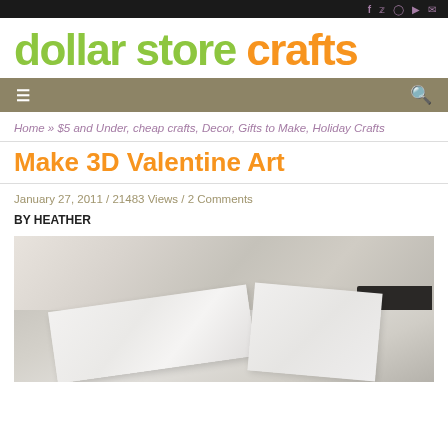f  t  p  yt  mail
[Figure (logo): Dollar Store Crafts logo — 'dollar store' in green, 'crafts' in orange, bold large sans-serif font]
≡  (navigation menu)  🔍 (search)
Home » $5 and Under, cheap crafts, Decor, Gifts to Make, Holiday Crafts
Make 3D Valentine Art
January 27, 2011  /  21483 Views  /  2 Comments
BY HEATHER
[Figure (photo): Partially visible craft materials — white papers/card stock and a dark rectangular object, soft blurred background]